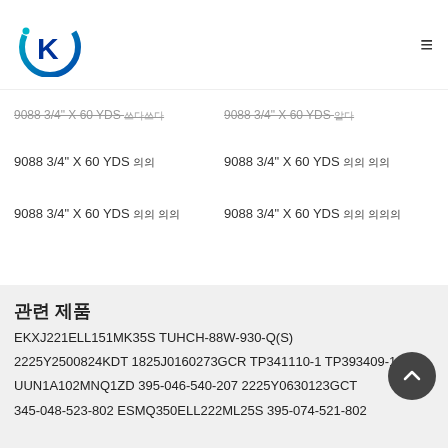[Figure (logo): Company logo with K letter and circular design in teal/blue gradient]
9088 3/4" X 60 YDS 쓰다 쓰다   9088 3/4" X 60 YDS 알다
9088 3/4" X 60 YDS 의의   9088 3/4" X 60 YDS 의의 의의
9088 3/4" X 60 YDS 의의 의의   9088 3/4" X 60 YDS 의의 의의의
관련 제품
EKXJ221ELL151MK35S TUHCH-88W-930-Q(S)
2225Y2500824KDT 1825J0160273GCR TP341110-1 TP393409-1
UUN1A102MNQ1ZD 395-046-540-207 2225Y0630123GCT
345-048-523-802 ESMQ350ELL222ML25S 395-074-521-802